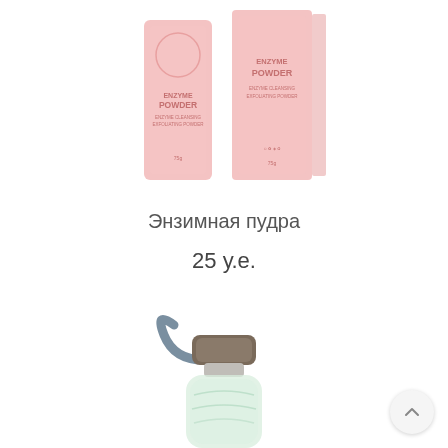[Figure (photo): Two pink enzyme powder product boxes/bottles standing side by side on white background]
Энзимная пудра
25 у.е.
[Figure (photo): A glass bottle with a gray strap/handle and dark metallic cap, partially visible, on white background]